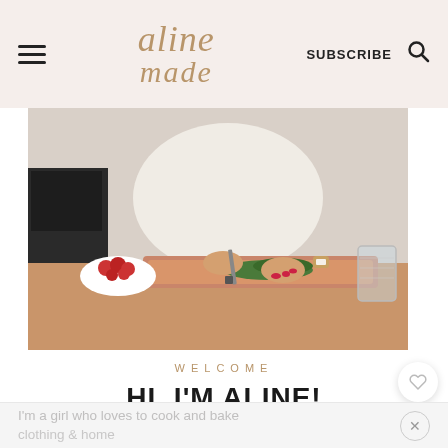aline made | SUBSCRIBE
[Figure (photo): Woman's hands chopping green herbs on a wooden cutting board in a bright kitchen, with a bowl of raspberries and a glass of water visible]
WELCOME
HI, I'M ALINE!
I'm a girl who loves to cook and bake